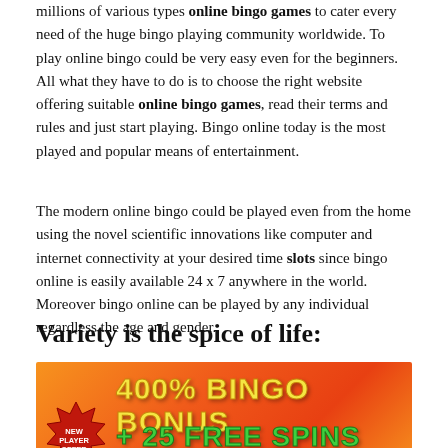millions of various types online bingo games to cater every need of the huge bingo playing community worldwide. To play online bingo could be very easy even for the beginners. All what they have to do is to choose the right website offering suitable online bingo games, read their terms and rules and just start playing. Bingo online today is the most played and popular means of entertainment.
The modern online bingo could be played even from the home using the novel scientific innovations like computer and internet connectivity at your desired time slots since bingo online is easily available 24 x 7 anywhere in the world. Moreover bingo online can be played by any individual regardless the age and gender.
Variety is the spice of life:
[Figure (infographic): Advertisement banner with orange-red gradient background showing '400% BINGO BONUS + 25 FREE SPINS' text. Yellow text for '400% BINGO BONUS' and green text for '+ 25 FREE SPINS'. A red starburst badge on the left says 'NEW PLAYER OFFER'.]